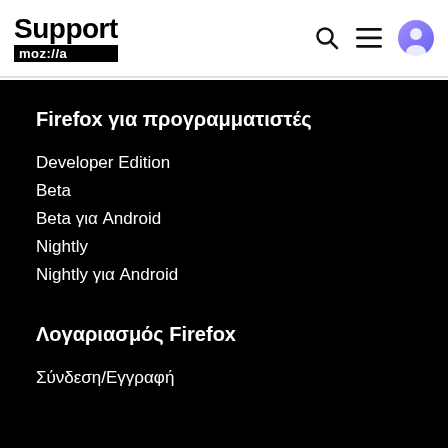Support mozilla
Firefox για προγραμματιστές
Developer Edition
Beta
Beta για Android
Nightly
Nightly για Android
Λογαριασμός Firefox
Σύνδεση/Εγγραφή